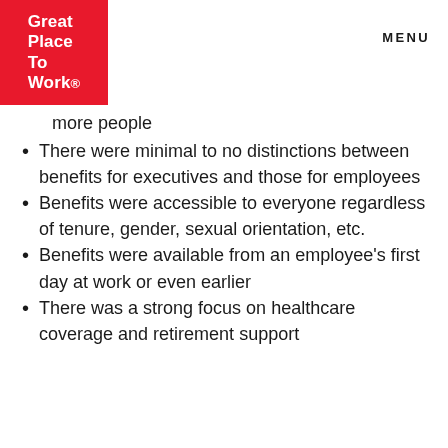Great Place To Work. | MENU
more people
There were minimal to no distinctions between benefits for executives and those for employees
Benefits were accessible to everyone regardless of tenure, gender, sexual orientation, etc.
Benefits were available from an employee's first day at work or even earlier
There was a strong focus on healthcare coverage and retirement support